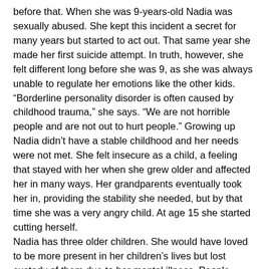before that. When she was 9-years-old Nadia was sexually abused. She kept this incident a secret for many years but started to act out. That same year she made her first suicide attempt. In truth, however, she felt different long before she was 9, as she was always unable to regulate her emotions like the other kids.
“Borderline personality disorder is often caused by childhood trauma,” she says. “We are not horrible people and are not out to hurt people.” Growing up Nadia didn’t have a stable childhood and her needs were not met. She felt insecure as a child, a feeling that stayed with her when she grew older and affected her in many ways. Her grandparents eventually took her in, providing the stability she needed, but by that time she was a very angry child. At age 15 she started cutting herself.
Nadia has three older children. She would have loved to be more present in her children’s lives but lost custody of them due to her mental illness. People sometimes say to her “when you get better,” hoping that one day she will “snap out of it” not understanding that her disorder is a